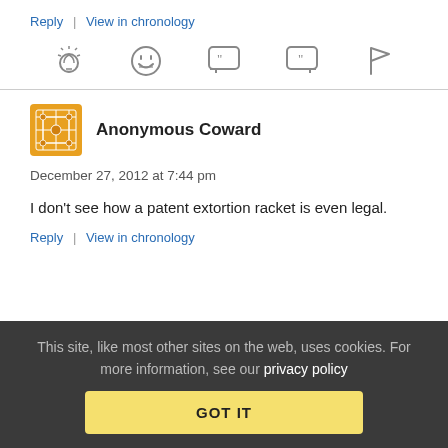Reply | View in chronology
[Figure (infographic): Row of 5 gray icons: lightbulb, laughing face, quote bubble (open quote), quote bubble (close quote), flag]
[Figure (illustration): Orange decorative tile/mosaic avatar icon for Anonymous Coward]
Anonymous Coward
December 27, 2012 at 7:44 pm
I don't see how a patent extortion racket is even legal.
Reply | View in chronology
This site, like most other sites on the web, uses cookies. For more information, see our privacy policy
GOT IT